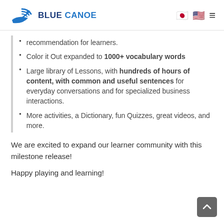BLUE CANOE
recommendation for learners.
Color it Out expanded to 1000+ vocabulary words
Large library of Lessons, with hundreds of hours of content, with common and useful sentences for everyday conversations and for specialized business interactions.
More activities, a Dictionary, fun Quizzes, great videos, and more.
We are excited to expand our learner community with this milestone release!
Happy playing and learning!